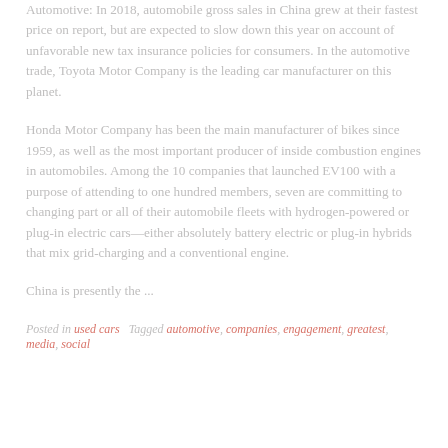Automotive: In 2018, automobile gross sales in China grew at their fastest price on report, but are expected to slow down this year on account of unfavorable new tax insurance policies for consumers. In the automotive trade, Toyota Motor Company is the leading car manufacturer on this planet.
Honda Motor Company has been the main manufacturer of bikes since 1959, as well as the most important producer of inside combustion engines in automobiles. Among the 10 companies that launched EV100 with a purpose of attending to one hundred members, seven are committing to changing part or all of their automobile fleets with hydrogen-powered or plug-in electric cars—either absolutely battery electric or plug-in hybrids that mix grid-charging and a conventional engine.
China is presently the ...
Posted in used cars   Tagged automotive, companies, engagement, greatest, media, social